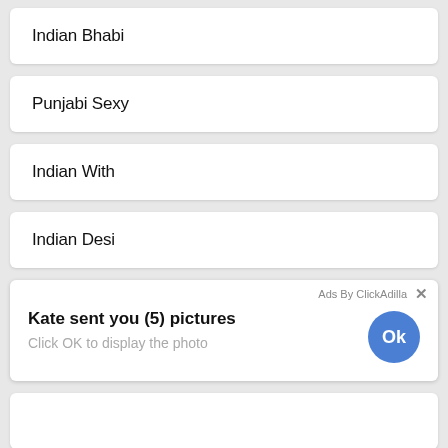Indian Bhabi
Punjabi Sexy
Indian With
Indian Desi
[Figure (screenshot): Ad overlay from ClickAdilla: 'Kate sent you (5) pictures / Click OK to display the photo' with a blue Ok button, and a large blue Ok button circle visible below]